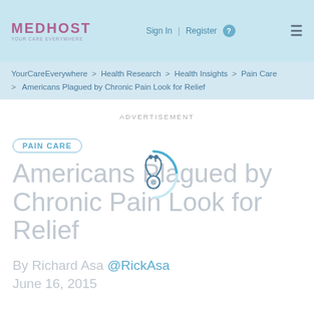MEDHOST | Sign In | Register | ≡
YourCareEverywhere > Health Research > Health Insights > Pain Care > Americans Plagued by Chronic Pain Look for Relief
ADVERTISEMENT
PAIN CARE
Americans Plagued by Chronic Pain Look for Relief
By Richard Asa @RickAsa
June 16, 2015